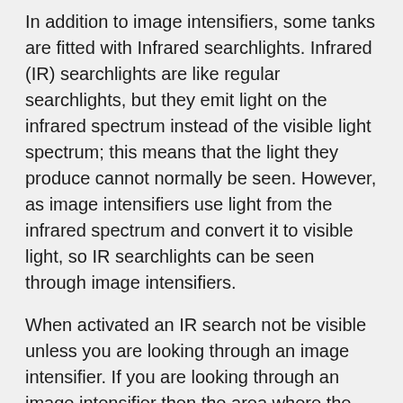In addition to image intensifiers, some tanks are fitted with Infrared searchlights. Infrared (IR) searchlights are like regular searchlights, but they emit light on the infrared spectrum instead of the visible light spectrum; this means that the light they produce cannot normally be seen. However, as image intensifiers use light from the infrared spectrum and convert it to visible light, so IR searchlights can be seen through image intensifiers.
When activated an IR search not be visible unless you are looking through an image intensifier. If you are looking through an image intensifier then the area where the light is pointing will be brightly illuminated. The effect of an IR searchlight can be seen in the image to the right.
While IR searchlights obviously make seeing targets a